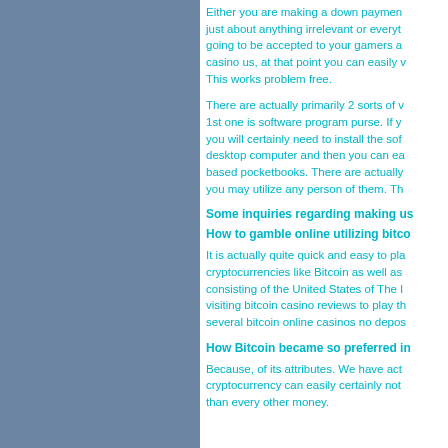Either you are making a down payment just about anything irrelevant or everything going to be accepted to your gamers a casino us, at that point you can easily w This works problem free.
There are actually primarily 2 sorts of w 1st one is software program purse. If y you will certainly need to install the so desktop computer and then you can ea based pocketbooks. There are actually you may utilize any person of them. Th
Some inquiries regarding making us
How to gamble online utilizing bitco
It is actually quite quick and easy to pla cryptocurrencies like Bitcoin as well as consisting of the United States of The visiting bitcoin casino reviews to play t several bitcoin online casinos no depo
How Bitcoin became so preferred in
Because, of its attributes. We have ac cryptocurrency can easily certainly not than every other money.